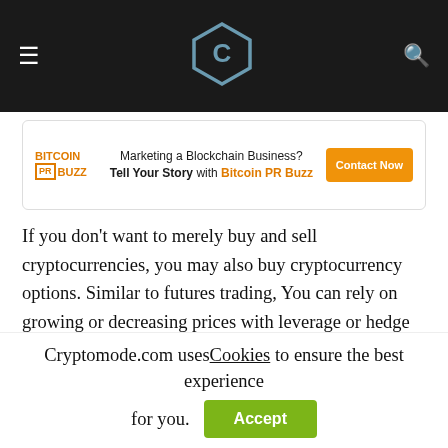CryptoMode navigation bar with logo
[Figure (other): Bitcoin PR Buzz advertisement banner: 'Marketing a Blockchain Business? Tell Your Story with Bitcoin PR Buzz' with Contact Now button]
If you don't want to merely buy and sell cryptocurrencies, you may also buy cryptocurrency options. Similar to futures trading, You can rely on growing or decreasing prices with leverage or hedge your portfolio. This article discusses the 5 Best Crypto Options Trading Platforms In 2022.
Many investors don't like to trade cryptocurrency because it's an extremely volatile asset. However, if you can time the market right, trading crypto can give you far higher returns
Cryptomode.com uses Cookies to ensure the best experience for you.